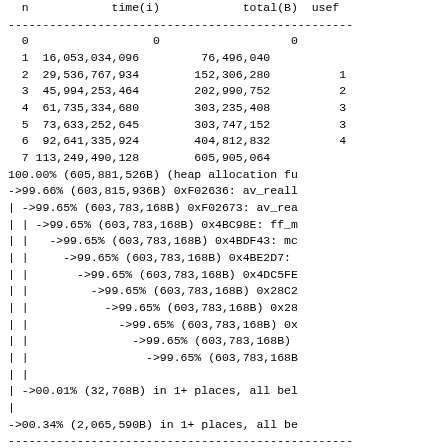| n | time(i) | total(B) | usef... |
| --- | --- | --- | --- |
| 0 | 0 | 0 |  |
| 1 | 16,053,034,096 | 76,496,040 |  |
| 2 | 29,536,767,934 | 152,306,280 | 1 |
| 3 | 45,994,253,464 | 202,990,752 | 2 |
| 4 | 61,735,334,680 | 303,235,408 | 3 |
| 5 | 73,633,252,645 | 303,747,152 | 3 |
| 6 | 92,641,335,924 | 404,812,832 | 4 |
| 7 | 113,249,490,128 | 605,905,064 |  |
100.00% (605,881,526B) (heap allocation fu
->99.66% (603,815,936B) 0xF02636: av_reall
| ->99.65% (603,783,168B) 0xF02673: av_rea
| | ->99.65% (603,783,168B) 0x4BC98E: ff_m
| |   ->99.65% (603,783,168B) 0x4BDF43: mc
| |     ->99.65% (603,783,168B) 0x4BE2D7:
| |       ->99.65% (603,783,168B) 0x4DC5FE
| |         ->99.65% (603,783,168B) 0x28C2
| |           ->99.65% (603,783,168B) 0x28
| |             ->99.65% (603,783,168B) 0x
| |               ->99.65% (603,783,168B)
| |                 ->99.65% (603,783,168B
| |
| ->00.01% (32,768B) in 1+ places, all bel
|
->00.34% (2,065,590B) in 1+ places, all be
| n | time(i) | total(B) | usef... |
| --- | --- | --- | --- |
| 8 | 127,523,130,817 | 605,860,168 |  |